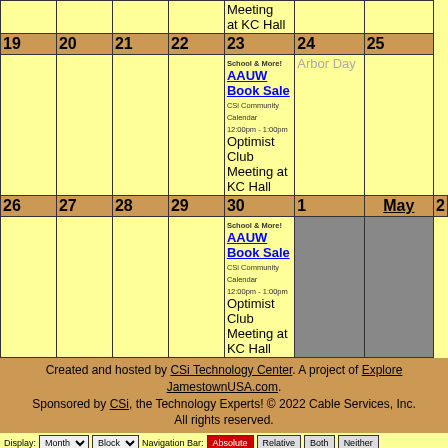| Sun | Mon | Tue | Wed | Thu | Fri | Sat |
| --- | --- | --- | --- | --- | --- | --- |
| 19 | 20 | 21 | 22 | 23 - Meeting at KC Hall (top) | 24 | 25 |
|  |  |  |  | 23 - AAUW Book Sale / Optimist Club Meeting at KC Hall | 24 - Arbor Day |  |
| 26 | 27 | 28 | 29 | 30 | 1 May | 2 |
|  |  |  |  | 30 - AAUW Book Sale / Optimist Club Meeting at KC Hall | 1 (gray) | 2 (gray) |
Meeting at KC Hall
School & More! AAUW Book Sale CSi Community Calendar 12:00pm - 1:00pm Optimist Club Meeting at KC Hall
Arbor Day
School & More! AAUW Book Sale CSi Community Calendar 12:00pm - 1:00pm Optimist Club Meeting at KC Hall
Created and hosted by CSi Technology Center. A project of Explore JamestownUSA.com. Sponsored by CSi, the Technology Experts! © 2022 Cable Services, Inc. All rights reserved.
Display: Month Block Navigation Bar: Absolute Relative Both Neither © 2022 csinewsnow.com